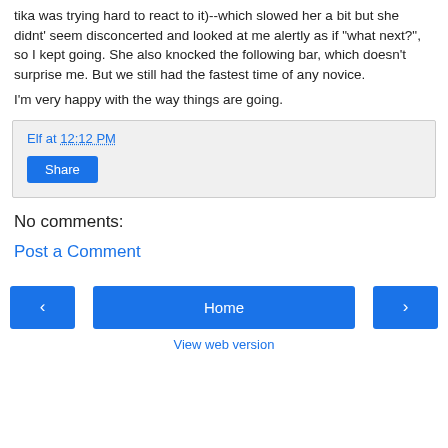tika was trying hard to react to it)--which slowed her a bit but she didnt' seem disconcerted and looked at me alertly as if "what next?", so I kept going. She also knocked the following bar, which doesn't surprise me. But we still had the fastest time of any novice.
I'm very happy with the way things are going.
Elf at 12:12 PM
Share
No comments:
Post a Comment
‹
Home
›
View web version